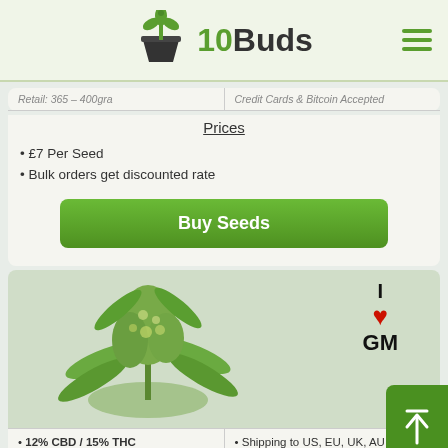10Buds
| Retail: 365 - 400gra | Credit Cards & Bitcoin Accepted |
Prices
£7 Per Seed
Bulk orders get discounted rate
Buy Seeds
[Figure (photo): Cannabis plant bud photo with I Love GM logo overlay]
12% CBD / 15% THC
Shipping to US, EU, UK, AU,